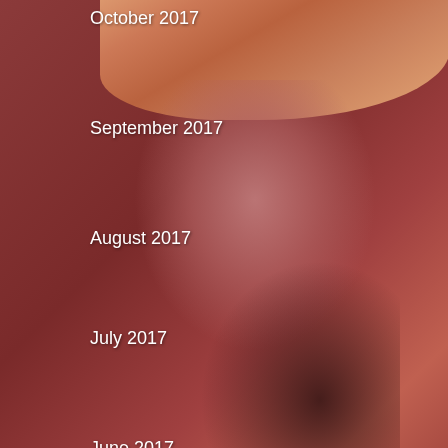[Figure (photo): Blurry close-up photograph of a person wearing a reddish-orange turban/headwrap, profile view facing right, with a warm reddish-brown toned background. Month labels overlaid on the left side of the image.]
October 2017
September 2017
August 2017
July 2017
June 2017
May 2017
April 2017
Advertisements
[Figure (screenshot): DuckDuckGo advertisement banner with orange background. Text reads 'Search, browse, and email with more privacy.' with a phone graphic showing the DuckDuckGo logo.]
Follow
...